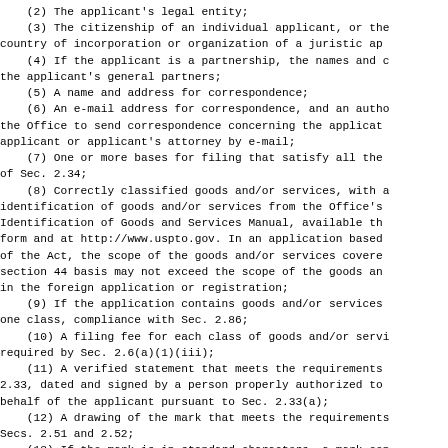(2) The applicant's legal entity;
(3) The citizenship of an individual applicant, or the country of incorporation or organization of a juristic ap
(4) If the applicant is a partnership, the names and c the applicant's general partners;
(5) A name and address for correspondence;
(6) An e-mail address for correspondence, and an autho the Office to send correspondence concerning the applicat applicant or applicant's attorney by e-mail;
(7) One or more bases for filing that satisfy all the of Sec. 2.34;
(8) Correctly classified goods and/or services, with a identification of goods and/or services from the Office's Identification of Goods and Services Manual, available th form and at http://www.uspto.gov. In an application based of the Act, the scope of the goods and/or services covere section 44 basis may not exceed the scope of the goods an in the foreign application or registration;
(9) If the application contains goods and/or services one class, compliance with Sec. 2.86;
(10) A filing fee for each class of goods and/or servi required by Sec. 2.6(a)(1)(iii);
(11) A verified statement that meets the requirements 2.33, dated and signed by a person properly authorized to behalf of the applicant pursuant to Sec. 2.33(a);
(12) A drawing of the mark that meets the requirements Secs. 2.51 and 2.52;
(13) If the mark is in standard characters, a mark con only characters in the USPTO standard character set avail http://www.uspto.gov/teas/standardCharacterSet.html;